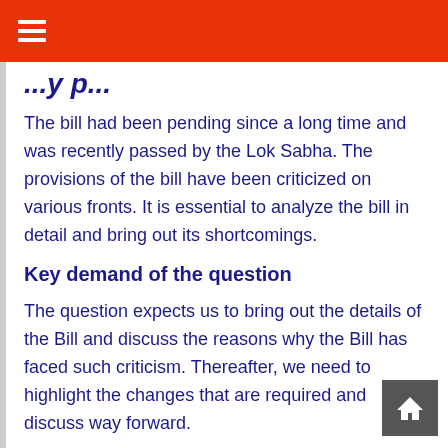...y p...
The bill had been pending since a long time and was recently passed by the Lok Sabha. The provisions of the bill have been criticized on various fronts. It is essential to analyze the bill in detail and bring out its shortcomings.
Key demand of the question
The question expects us to bring out the details of the Bill and discuss the reasons why the Bill has faced such criticism. Thereafter, we need to highlight the changes that are required and discuss way forward.
Directive word